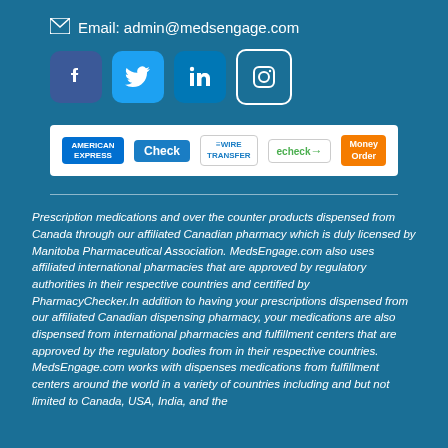Email: admin@medsengage.com
[Figure (infographic): Social media icons: Facebook, Twitter, LinkedIn, Instagram]
[Figure (infographic): Payment method icons: American Express, Check, Wire Transfer, echeck, Money Order]
Prescription medications and over the counter products dispensed from Canada through our affiliated Canadian pharmacy which is duly licensed by Manitoba Pharmaceutical Association. MedsEngage.com also uses affiliated international pharmacies that are approved by regulatory authorities in their respective countries and certified by PharmacyChecker.In addition to having your prescriptions dispensed from our affiliated Canadian dispensing pharmacy, your medications are also dispensed from international pharmacies and fulfillment centers that are approved by the regulatory bodies from in their respective countries. MedsEngage.com works with dispenses medications from fulfillment centers around the world in a variety of countries including and but not limited to Canada, USA, India, and the